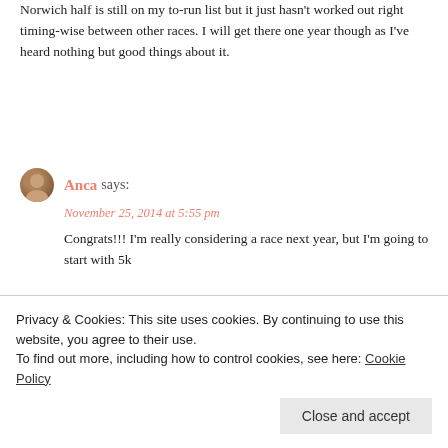Norwich half is still on my to-run list but it just hasn't worked out right timing-wise between other races. I will get there one year though as I've heard nothing but good things about it.
Anca says: November 25, 2014 at 5:55 pm
Congrats!!! I'm really considering a race next year, but I'm going to start with 5k
Anca @ ancaslifestyle | UK
Lady Lipstick says: November 26, 2014 at 10:29 am
Privacy & Cookies: This site uses cookies. By continuing to use this website, you agree to their use.
To find out more, including how to control cookies, see here: Cookie Policy
Close and accept